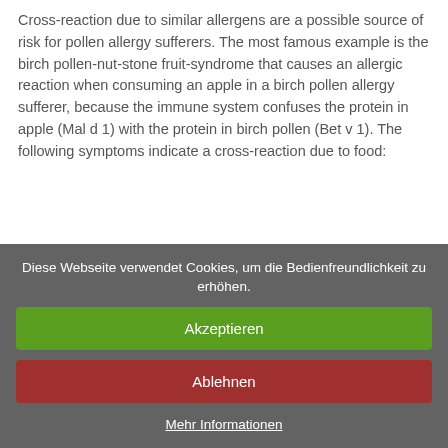Cross-reaction due to similar allergens are a possible source of risk for pollen allergy sufferers. The most famous example is the birch pollen-nut-stone fruit-syndrome that causes an allergic reaction when consuming an apple in a birch pollen allergy sufferer, because the immune system confuses the protein in apple (Mal d 1) with the protein in birch pollen (Bet v 1). The following symptoms indicate a cross-reaction due to food:
itching mouth and throat
swelling of mouth, tongue and lips
hoarseness
numbness
swelling of eye lids
digestion problems
Diese Webseite verwendet Cookies, um die Bedienfreundlichkeit zu erhöhen.
Akzeptieren
Ablehnen
Mehr Informationen